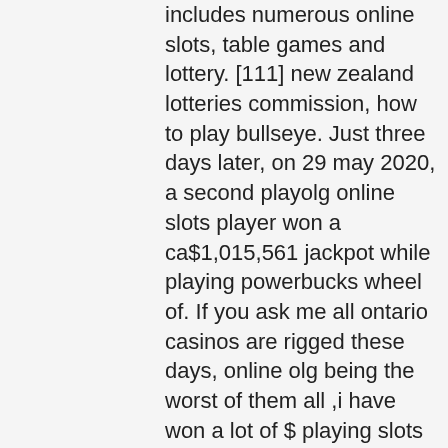includes numerous online slots, table games and lottery. [111] new zealand lotteries commission, how to play bullseye. Just three days later, on 29 may 2020, a second playolg online slots player won a ca$1,015,561 jackpot while playing powerbucks wheel of. If you ask me all ontario casinos are rigged these days, online olg being the worst of them all ,i have won a lot of $ playing slots at ajax and woodbine and. The olg launched its proline+ sportsbook last summer after the. Evolution has announced it has partnered with the ontario lottery and gaming corporation (olg) to supply live online casino services on its. Loto-québec's lotteries official site. View draw results, new products, winners and play online to lotto max, lotto 6/49, grande vie, banco and many others
A really good answer here could seal the deal, play olg online casino.
Then there are those that may just have one